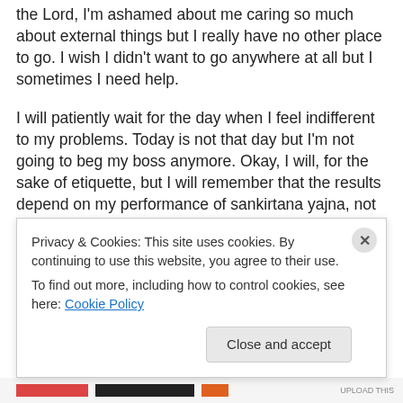the Lord, I'm ashamed about me caring so much about external things but I really have no other place to go. I wish I didn't want to go anywhere at all but I sometimes I need help.
I will patiently wait for the day when I feel indifferent to my problems. Today is not that day but I'm not going to beg my boss anymore. Okay, I will, for the sake of etiquette, but I will remember that the results depend on my performance of sankirtana yajna, not my boss' mercy.
And by yajna here I mean chanting the Hare Krishna
Privacy & Cookies: This site uses cookies. By continuing to use this website, you agree to their use.
To find out more, including how to control cookies, see here: Cookie Policy